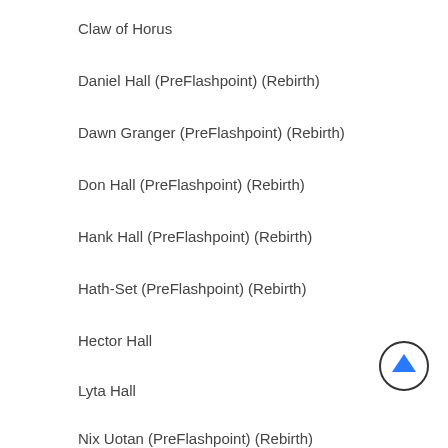Claw of Horus
Daniel Hall (PreFlashpoint) (Rebirth)
Dawn Granger (PreFlashpoint) (Rebirth)
Don Hall (PreFlashpoint) (Rebirth)
Hank Hall (PreFlashpoint) (Rebirth)
Hath-Set (PreFlashpoint) (Rebirth)
Hector Hall
Lyta Hall
Nix Uotan (PreFlashpoint) (Rebirth)
Nth Metal